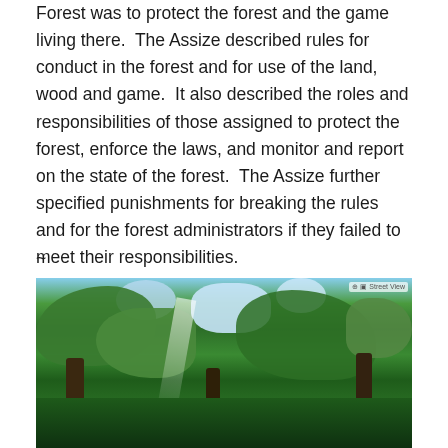Forest was to protect the forest and the game living there. The Assize described rules for conduct in the forest and for use of the land, wood and game. It also described the roles and responsibilities of those assigned to protect the forest, enforce the laws, and monitor and report on the state of the forest. The Assize further specified punishments for breaking the rules and for the forest administrators if they failed to meet their responsibilities.
~
[Figure (photo): Photograph taken looking up through a dense forest canopy with green leaves and branches, sunlight filtering through gaps in the foliage with patches of blue sky visible above.]